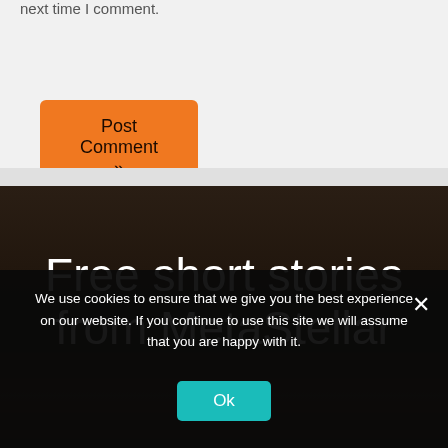next time I comment.
Post Comment »
[Figure (other): Dark background banner image with text 'Free short stories from MetaStellar']
We use cookies to ensure that we give you the best experience on our website. If you continue to use this site we will assume that you are happy with it.
Ok